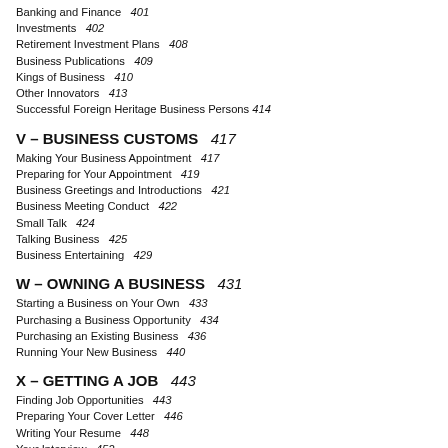Banking and Finance   401
Investments   402
Retirement Investment Plans   408
Business Publications   409
Kings of Business   410
Other Innovators   413
Successful Foreign Heritage Business Persons   414
V – BUSINESS CUSTOMS   417
Making Your Business Appointment   417
Preparing for Your Appointment   419
Business Greetings and Introductions   421
Business Meeting Conduct   422
Small Talk   424
Talking Business   425
Business Entertaining   429
W – OWNING A BUSINESS   431
Starting a Business on Your Own   433
Purchasing a Business Opportunity   434
Purchasing an Existing Business   436
Running Your New Business   440
X – GETTING A JOB   443
Finding Job Opportunities   443
Preparing Your Cover Letter   446
Writing Your Resume   448
Your Interview   452
Quitting Your Job   457
Job Market Today   459